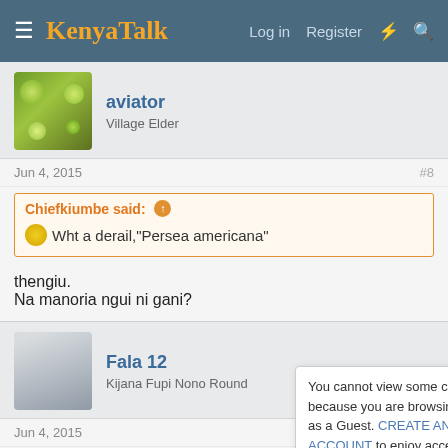KenyaTalk — Log in  Register
aviator
Village Elder
Jun 4, 2015  #8
Chiefkiumbe said: ↑
😁 Wht a derail,"Persea americana"
thengiu.
Na manoria ngui ni gani?
Fala 12
Kijana Fupi Nono Round
Jun 4, 2015  #9
You cannot view some content because you are browsing this site as a Guest. CREATE AN ACCOUNT to enjoy access to all content.
aviator said: ↑